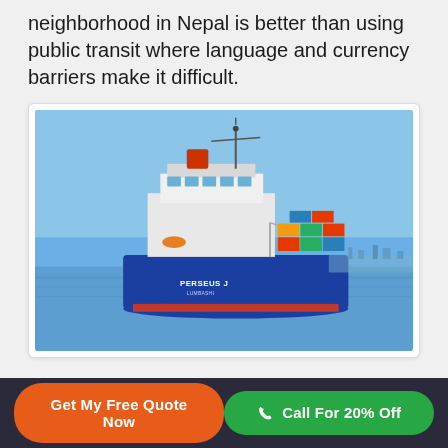neighborhood in Nepal is better than using public transit where language and currency barriers make it difficult.
[Figure (photo): A blue cargo container ship named PERSEUS J sailing on calm blue water, loaded with shipping containers on deck, with coastline visible in background.]
Get My Free Quote Now   Call For 20% Off